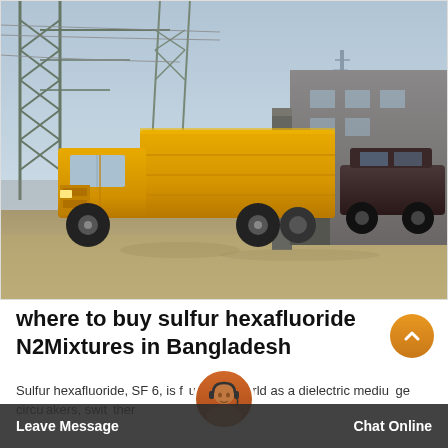[Figure (photo): An orange delivery/cargo truck parked in front of an industrial facility with steel lattice structures and power lines in the background. A dark SUV is also visible on the right. The setting appears to be an industrial or power substation yard.]
where to buy sulfur hexafluoride N2Mixtures in Bangladesh
Sulfur hexafluoride, SF 6, is found around the world as a dielectric medium in high-voltage circuit breakers, switchgear, other electrical equipment